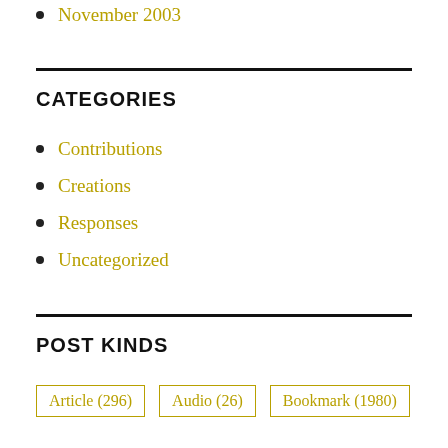November 2003
CATEGORIES
Contributions
Creations
Responses
Uncategorized
POST KINDS
Article (296)
Audio (26)
Bookmark (1980)